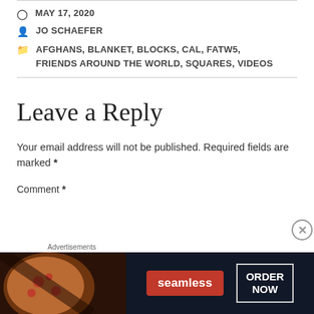MAY 17, 2020
JO SCHAEFER
AFGHANS, BLANKET, BLOCKS, CAL, FATW5, FRIENDS AROUND THE WORLD, SQUARES, VIDEOS
Leave a Reply
Your email address will not be published. Required fields are marked *
Comment *
[Figure (screenshot): Seamless food delivery advertisement showing pizza image on left, seamless logo button in center-red, and ORDER NOW button on right, on dark background. Labeled 'Advertisements' above.]